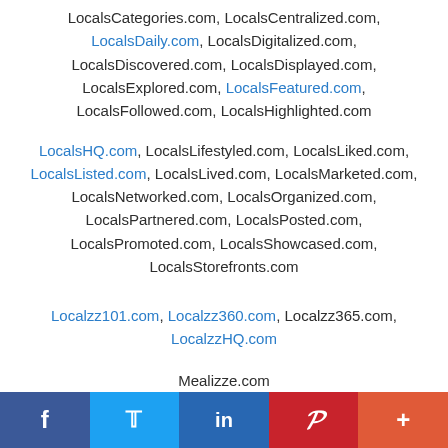LocalsCategories.com, LocalsCentralized.com, LocalsDaily.com, LocalsDigitalized.com, LocalsDiscovered.com, LocalsDisplayed.com, LocalsExplored.com, LocalsFeatured.com, LocalsFollowed.com, LocalsHighlighted.com
LocalsHQ.com, LocalsLifestyled.com, LocalsLiked.com, LocalsListed.com, LocalsLived.com, LocalsMarketed.com, LocalsNetworked.com, LocalsOrganized.com, LocalsPartnered.com, LocalsPosted.com, LocalsPromoted.com, LocalsShowcased.com, LocalsStorefronts.com
Localzz101.com, Localzz360.com, Localzz365.com, LocalzzHQ.com
Mealizze.com
[Figure (other): Social media share bar with Facebook, Twitter, LinkedIn, Pinterest, and More buttons]